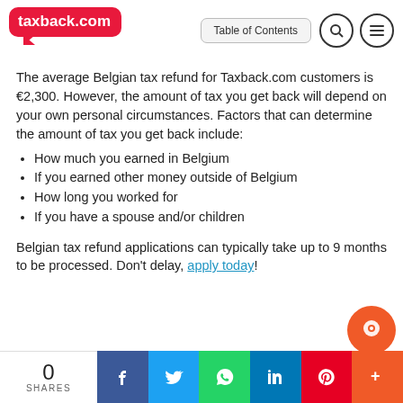[Figure (logo): taxback.com logo — white text on red speech bubble]
The average Belgian tax refund for Taxback.com customers is €2,300. However, the amount of tax you get back will depend on your own personal circumstances. Factors that can determine the amount of tax you get back include:
How much you earned in Belgium
If you earned other money outside of Belgium
How long you worked for
If you have a spouse and/or children
Belgian tax refund applications can typically take up to 9 months to be processed. Don't delay, apply today!
0 SHARES | Facebook | Twitter | WhatsApp | LinkedIn | Pinterest | More